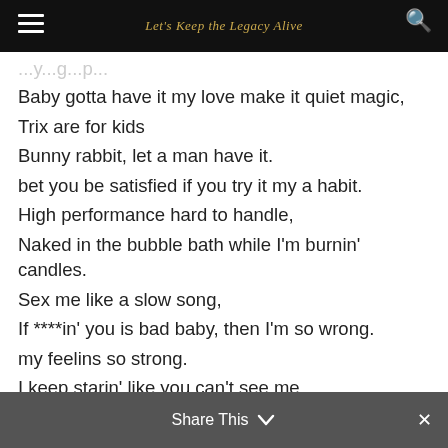Let's Keep the Legacy Alive
Baby gotta have it my love make it quiet magic,
Trix are for kids
Bunny rabbit, let a man have it.
bet you be satisfied if you try it my a habit.
High performance hard to handle,
Naked in the bubble bath while I'm burnin' candles.
Sex me like a slow song,
If ****in' you is bad baby, then I'm so wrong.
my feelins so strong.
I keep starin' like you can't see me,
I never planned a scam, my thoughts ran freely.
There's no need to be paranoid,
Ain't nothin poppin' I ain't worried bout your man baby girl,
Cause I'm just watchin' (watching)
Share This